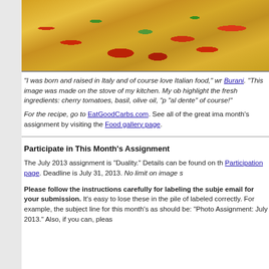[Figure (photo): Close-up photo of penne pasta dish with cherry tomatoes, fresh basil, and olive oil in a pan]
"I was born and raised in Italy and of course love Italian food," wr Burani. "This image was made on the stove of my kitchen. My ob highlight the fresh ingredients: cherry tomatoes, basil, olive oil, "p "al dente" of course!"
For the recipe, go to EatGoodCarbs.com. See all of the great ima month's assignment by visiting the Food gallery page.
Participate in This Month's Assignment
The July 2013 assignment is "Duality." Details can be found on th Participation page. Deadline is July 31, 2013. No limit on image s
Please follow the instructions carefully for labeling the subje email for your submission. It's easy to lose these in the pile of labeled correctly. For example, the subject line for this month's as should be: "Photo Assignment: July 2013." Also, if you can, pleas